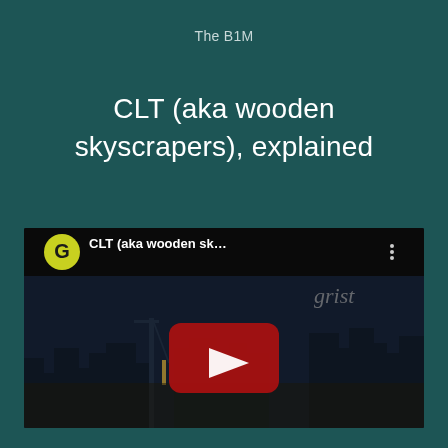The B1M
CLT (aka wooden skyscrapers), explained
[Figure (screenshot): YouTube video thumbnail showing a city skyline at dusk with a YouTube play button overlay. The video title reads 'CLT (aka wooden sk…' with a Google/YouTube channel icon (letter G in yellow-green circle) in the top left and a vertical dots menu icon. The Grist logo is visible in the top right of the thumbnail.]